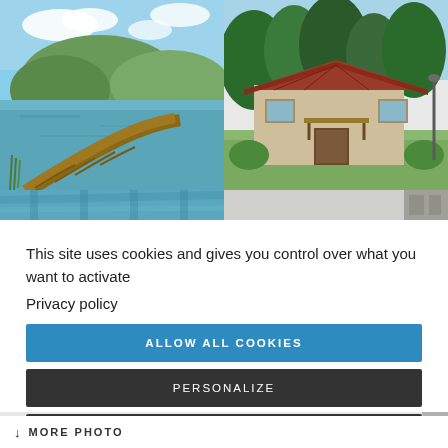[Figure (photo): Top-left photo: wooden dock/boardwalk curving along a calm lake with green hills and blue sky in background]
[Figure (photo): Top-right photo: Spanish-style stucco building with red tile roof surrounded by green trees and lawn]
[Figure (photo): Bottom-left partial photo: blue-green water/dock structure, partially cropped]
[Figure (photo): Bottom-right partial photo: light grey/beige surface, partially cropped]
This site uses cookies and gives you control over what you want to activate
Privacy policy
ALLOW ALL COOKIES
PERSONALIZE
DENY ALL COOKIES
↓ MORE PHOTO